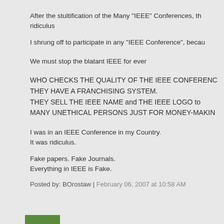After the stultification of the Many "IEEE" Conferences, th... ridiculus
I shrung off to participate in any "IEEE Conference", becau...
We must stop the blatant IEEE for ever
WHO CHECKS THE QUALITY OF THE IEEE CONFERENC... THEY HAVE A FRANCHISING SYSTEM. THEY SELL THE IEEE NAME and THE IEEE LOGO to MANY UNETHICAL PERSONS JUST FOR MONEY-MAKIN...
I was in an IEEE Conference in my Country.
It was ridiculus.

Fake papers. Fake Journals.
Everything in IEEE is Fake.
Posted by: BOrostaw | February 06, 2007 at 10:58 AM